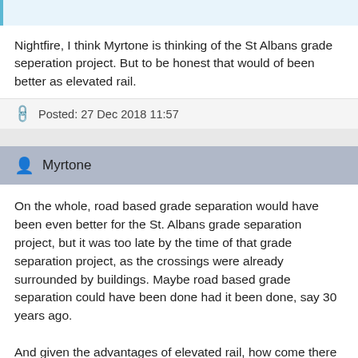Nightfire, I think Myrtone is thinking of the St Albans grade seperation project. But to be honest that would of been better as elevated rail.
Posted: 27 Dec 2018 11:57
Myrtone
On the whole, road based grade separation would have been even better for the St. Albans grade separation project, but it was too late by the time of that grade separation project, as the crossings were already surrounded by buildings. Maybe road based grade separation could have been done had it been done, say 30 years ago.
And given the advantages of elevated rail, how come there